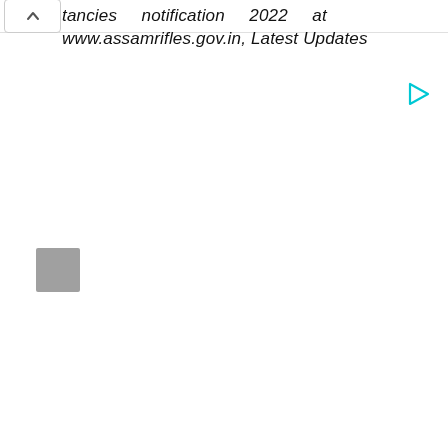tancies notification 2022 at www.assamrifles.gov.in, Latest Updates
[Figure (other): Cyan/teal play button triangle icon]
[Figure (other): Gray square thumbnail/image placeholder]